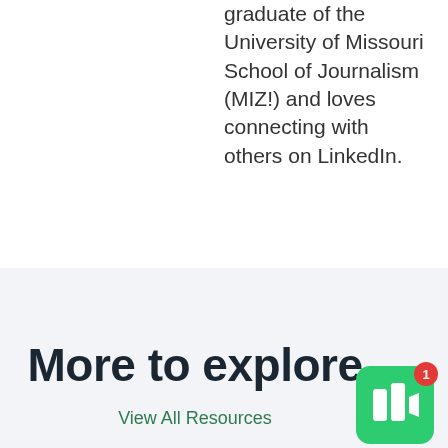graduate of the University of Missouri School of Journalism (MIZ!) and loves connecting with others on LinkedIn.
More to explore
View All Resources
[Figure (logo): Green app icon with lightning bolt and notification badge showing 1]